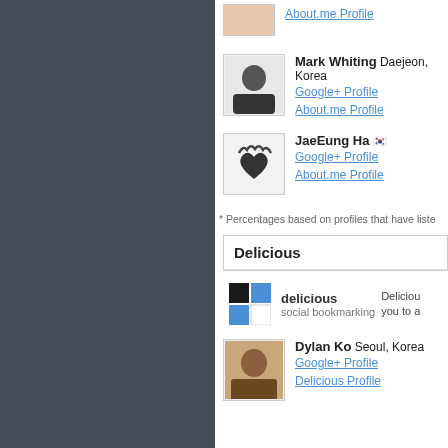About.me Profile
Mark Whiting Daejeon, Korea
Google+ Profile
About.me Profile
JaeEung Ha
Google+ Profile
About.me Profile
* Percentages based on profiles that have liste
Delicious
delicious social bookmarking — Deliciou you to a
Dylan Ko Seoul, Korea
Google+ Profile
Delicious Profile